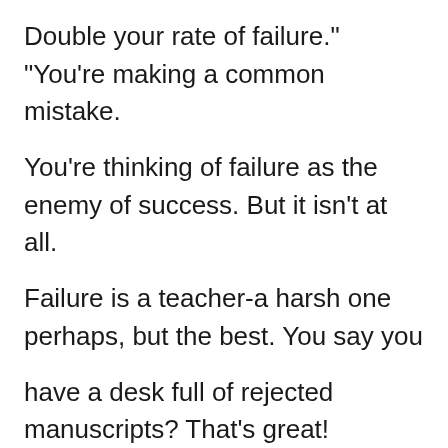Double your rate of failure." "You're making a common mistake.
You're thinking of failure as the enemy of success. But it isn't at all.
Failure is a teacher-a harsh one perhaps, but the best. You say you
have a desk full of rejected manuscripts? That's great! Everyone of
those manuscripts was rejected for a reason. Have you pulled them
to pieces looking for that reason? "You can be